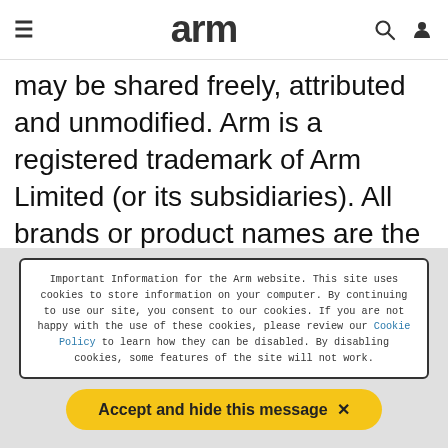arm
may be shared freely, attributed and unmodified. Arm is a registered trademark of Arm Limited (or its subsidiaries). All brands or product names are the property of their respective holders. © 1995-2022 Arm Group.
Important Information for the Arm website. This site uses cookies to store information on your computer. By continuing to use our site, you consent to our cookies. If you are not happy with the use of these cookies, please review our Cookie Policy to learn how they can be disabled. By disabling cookies, some features of the site will not work.
Accept and hide this message ✕